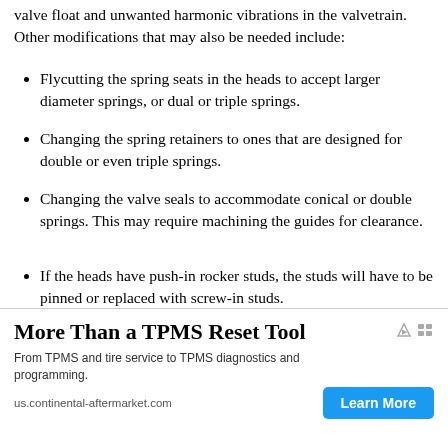valve float and unwanted harmonic vibrations in the valvetrain. Other modifications that may also be needed include:
Flycutting the spring seats in the heads to accept larger diameter springs, or dual or triple springs.
Changing the spring retainers to ones that are designed for double or even triple springs.
Changing the valve seals to accommodate conical or double springs. This may require machining the guides for clearance.
If the heads have push-in rocker studs, the studs will have to be pinned or replaced with screw-in studs.
Replacing the stock pushrods with stronger and stiffer 4130 chrome moly pushrods (to prevent pushrod flexing and breakage).
If the springs provide more than 350 psi of pressure when the valves are open, the stock stamped steel rockers will also have to be replaced with stronger steel or aluminum rockers.
[Figure (other): Advertisement banner: 'More Than a TPMS Reset Tool' from us.continental-aftermarket.com with a 'Learn More' button.]